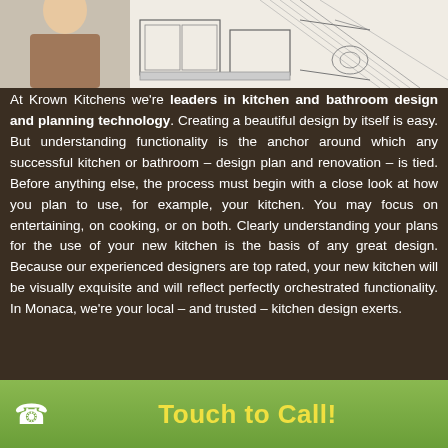[Figure (illustration): Kitchen design illustration showing a 3D perspective line drawing of a kitchen layout with cabinets and countertops, with a partial photo of a person in the top left corner]
At Krown Kitchens we're leaders in kitchen and bathroom design and planning technology. Creating a beautiful design by itself is easy. But understanding functionality is the anchor around which any successful kitchen or bathroom – design plan and renovation – is tied. Before anything else, the process must begin with a close look at how you plan to use, for example, your kitchen. You may focus on entertaining, on cooking, or on both. Clearly understanding your plans for the use of your new kitchen is the basis of any great design. Because our experienced designers are top rated, your new kitchen will be visually exquisite and will reflect perfectly orchestrated functionality. In Monaca, we're your local – and trusted – kitchen design exerts.
Touch to Call!